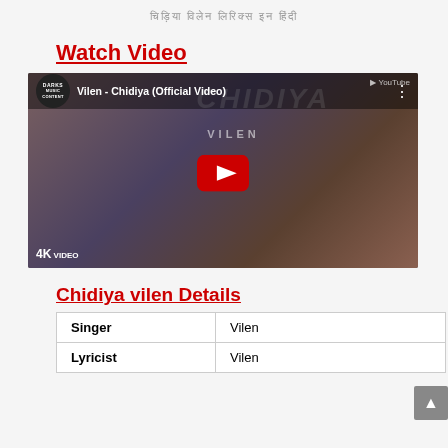चिड़िया विलेन लिरिक्स इन हिंदी
Watch Video
[Figure (screenshot): YouTube video thumbnail for 'Vilen - Chidiya (Official Video)' by DARKS Music Content channel, showing a woman in red and a man in black, with a red YouTube play button overlay and 4K VIDEO badge.]
Chidiya vilen Details
| Singer | Vilen |
| Lyricist | Vilen |